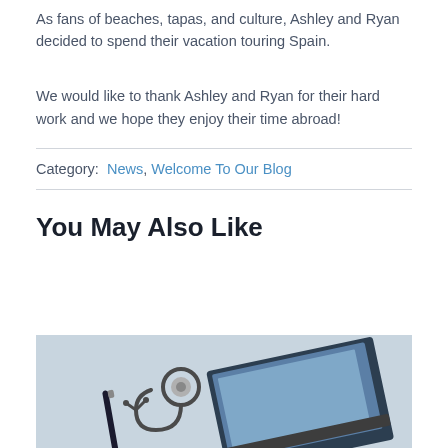As fans of beaches, tapas, and culture, Ashley and Ryan decided to spend their vacation touring Spain.
We would like to thank Ashley and Ryan for their hard work and we hope they enjoy their time abroad!
Category:  News, Welcome To Our Blog
You May Also Like
[Figure (photo): Photo of a stethoscope, pen, and laptop on a light blue background]